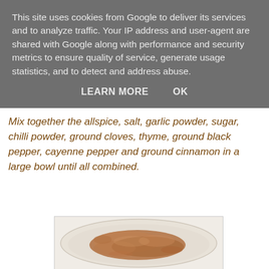This site uses cookies from Google to deliver its services and to analyze traffic. Your IP address and user-agent are shared with Google along with performance and security metrics to ensure quality of service, generate usage statistics, and to detect and address abuse.
LEARN MORE   OK
Mix together the allspice, salt, garlic powder, sugar, chilli powder, ground cloves, thyme, ground black pepper, cayenne pepper and ground cinnamon in a large bowl until all combined.
[Figure (photo): A white bowl seen from above containing a mixed blend of brown spice powders spread across the surface.]